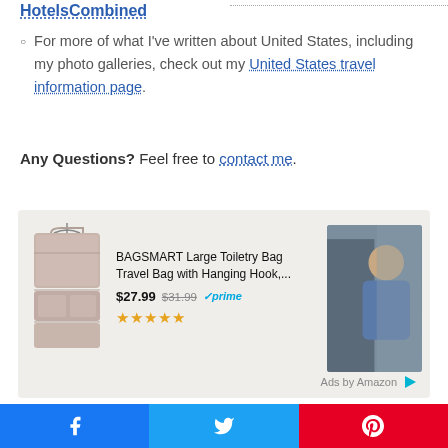HotelsCombined
For more of what I've written about United States, including my photo galleries, check out my United States travel information page.
Any Questions? Feel free to contact me.
[Figure (other): Amazon advertisement showing BAGSMART Large Toiletry Bag Travel Bag with Hanging Hook, priced at $27.99 (was $31.99), with Prime badge and 4.5 star rating, alongside a photo of a person]
Facebook share | Twitter share | Pinterest share